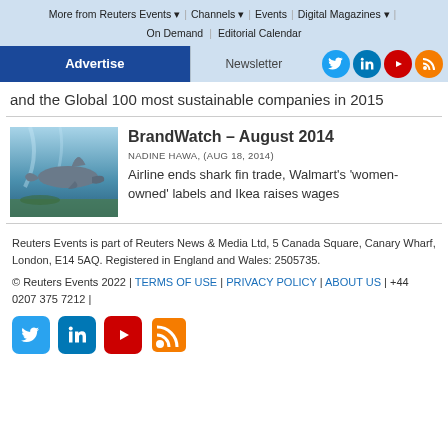More from Reuters Events | Channels | Events | Digital Magazines | On Demand | Editorial Calendar
Advertise | Newsletter
and the Global 100 most sustainable companies in 2015
BrandWatch – August 2014
NADINE HAWA, (AUG 18, 2014)
Airline ends shark fin trade, Walmart's 'women-owned' labels and Ikea raises wages
Reuters Events is part of Reuters News & Media Ltd, 5 Canada Square, Canary Wharf, London, E14 5AQ. Registered in England and Wales: 2505735.
© Reuters Events 2022 | TERMS OF USE | PRIVACY POLICY | ABOUT US | +44 0207 375 7212 |